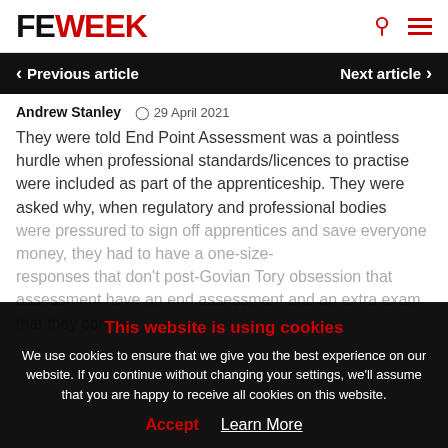FE WEEK
Previous article   Next article
Andrew Stanley  29 April 2021
They were told End Point Assessment was a pointless hurdle when professional standards/licences to practise were included as part of the apprenticeship. They were asked why, when regulatory and professional bodies were pressured to sign off apprentices and save everyone money, they had to have a one-size- responses that don't post-Govian Tory obsession that assessment have an end assessment and an extra exam that they control.
This website is using cookies
We use cookies to ensure that we give you the best experience on our website. If you continue without changing your settings, we'll assume that you are happy to receive all cookies on this website.
Accept   Learn More